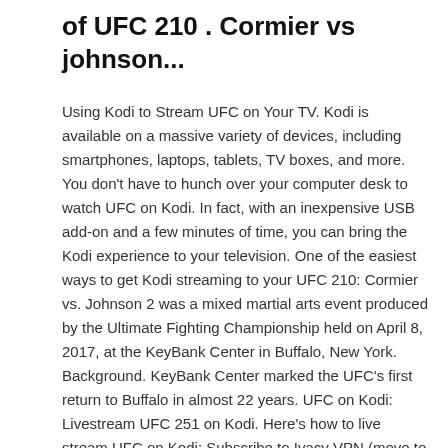of UFC 210 . Cormier vs johnson...
Using Kodi to Stream UFC on Your TV. Kodi is available on a massive variety of devices, including smartphones, laptops, tablets, TV boxes, and more. You don't have to hunch over your computer desk to watch UFC on Kodi. In fact, with an inexpensive USB add-on and a few minutes of time, you can bring the Kodi experience to your television. One of the easiest ways to get Kodi streaming to your UFC 210: Cormier vs. Johnson 2 was a mixed martial arts event produced by the Ultimate Fighting Championship held on April 8, 2017, at the KeyBank Center in Buffalo, New York. Background. KeyBank Center marked the UFC's first return to Buffalo in almost 22 years. UFC on Kodi: Livestream UFC 251 on Kodi. Here's how to live stream UFC on Kodi: Subscribe to Ivacy VPN (move to step 2 if you already have.) Configure Ivacy VPN on Kodi; Change IP location to UK or US with the help of the VPN; Install Planet MMA Addon from Supremacy repository. Enjoy